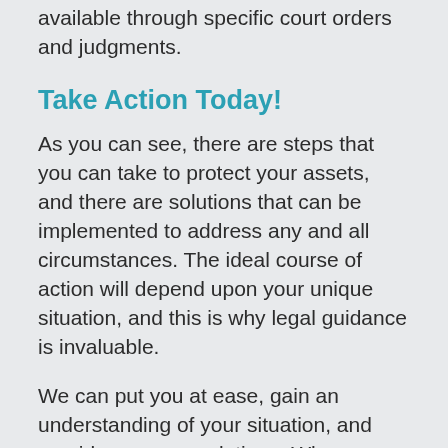trust would be in play. They can also be made available through specific court orders and judgments.
Take Action Today!
As you can see, there are steps that you can take to protect your assets, and there are solutions that can be implemented to address any and all circumstances. The ideal course of action will depend upon your unique situation, and this is why legal guidance is invaluable.
We can put you at ease, gain an understanding of your situation, and provide recommendations. When you make your informed decisions, we can apply our expertise to create the ideal plan for you and your family.